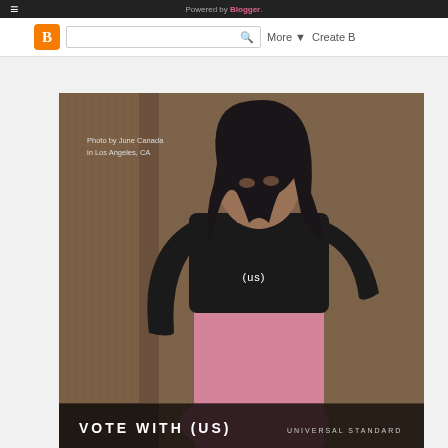Powered by Blogger.
[Figure (photo): A woman with long dark hair wearing a black long-sleeve shirt with '(us)' printed on it and a pink skirt, standing in front of a burlap/fabric backdrop in Los Angeles, CA. Photo by June Canada. Bottom overlay reads 'VOTE WITH (US)' and 'UNIVERSAL STANDARD'.]